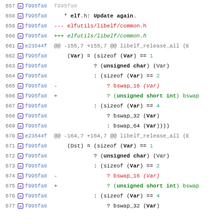Code diff viewer showing lines 657-677 of a git blame/diff for elfutils/libelf/common.h
657 f995fa8 [partial, top clipped]
658 f995fa8  * elf.h: Update again.
659 f995fa8 --- elfutils/libelf/common.h
660 f995fa8 +++ elfutils/libelf/common.h
661 e23544f @@ -155,7 +155,7 @@ libelf_release_all (E...
662 f995fa8     (Var) = (sizeof (Var) == 1
663 f995fa8             ? (unsigned char) (Var)
664 f995fa8             : (sizeof (Var) == 2
665 f995fa8 -               ? bswap_16 (Var)
666 f995fa8 +               ? (unsigned short int) bswap...
667 f995fa8             : (sizeof (Var) == 4
668 f995fa8                 ? bswap_32 (Var)
669 f995fa8                 : bswap_64 (Var))))
670 e23544f @@ -164,7 +164,7 @@ libelf_release_all (E...
671 f995fa8     (Dst) = (sizeof (Var) == 1
672 f995fa8             ? (unsigned char) (Var)
673 f995fa8             : (sizeof (Var) == 2
674 f995fa8 -               ? bswap_16 (Var)
675 f995fa8 +               ? (unsigned short int) bswap...
676 f995fa8             : (sizeof (Var) == 4
677 f995fa8                 ? bswap_32 (Var)